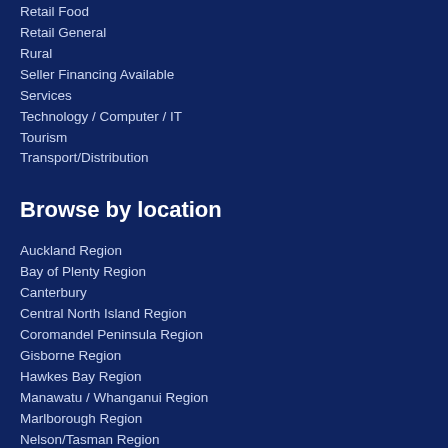Retail Food
Retail General
Rural
Seller Financing Available
Services
Technology / Computer / IT
Tourism
Transport/Distribution
Browse by location
Auckland Region
Bay of Plenty Region
Canterbury
Central North Island Region
Coromandel Peninsula Region
Gisborne Region
Hawkes Bay Region
Manawatu / Whanganui Region
Marlborough Region
Nelson/Tasman Region
New Zealand